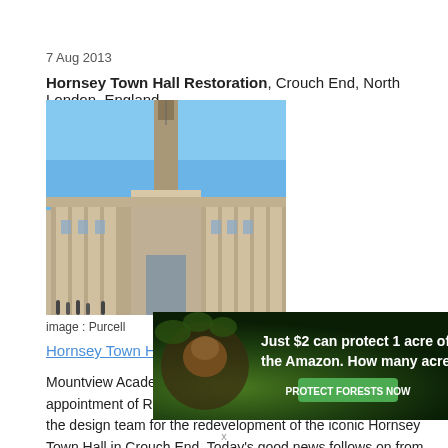7 Aug 2013
Hornsey Town Hall Restoration, Crouch End, North London, England
[Figure (photo): Photograph of Hornsey Town Hall building showing Art Deco architecture with tall clock tower against blue sky, with people visible in foreground]
image : Purcell
Hornsey Town Hall Restoration
Mountview Academy of Theatre Arts has announced today the appointment of RIBA award-winning architects Purcell to lead the design team for the redevelopment of the iconic Hornsey Town Hall in Crouch End. Today's good news follows on from successfully securing initial support, including a development grant of £482,000, from the Heritage Lottery Fund (HLF) last
[Figure (photo): Advertisement banner: Just $2 can protect 1 acre of irreplaceable forest homes in the Amazon. How many acres are you willing to protect? PROTECT FORESTS NOW]